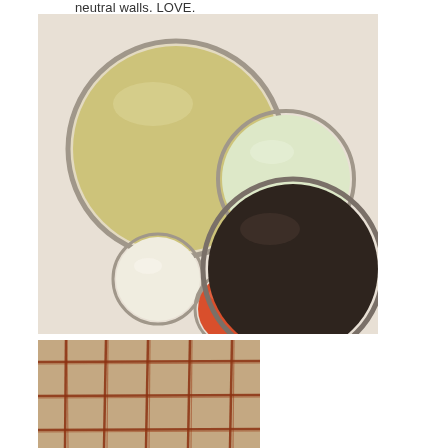neutral walls. LOVE.
[Figure (photo): Five paint tin lids arranged on a light beige background: large khaki/tan circle top-left, medium pale green circle top-right, small cream circle middle-left, small orange-red circle center-bottom, large dark brown/espresso circle bottom-right.]
[Figure (photo): Close-up of a fabric or rug with a plaid/grid pattern in burnt orange/rust lines on a tan/khaki background.]